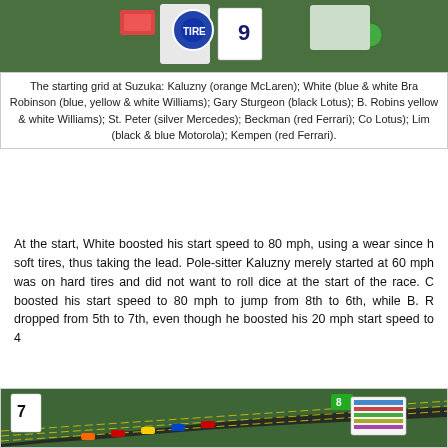[Figure (photo): Top portion of a board game photo showing the starting grid at Suzuka, with game cards, tokens, and miniature cars on a green racing board.]
The starting grid at Suzuka: Kaluzny (orange McLaren); White (blue & white Bra Robinson (blue, yellow & white Williams); Gary Sturgeon (black Lotus); B. Robins yellow & white Williams); St. Peter (silver Mercedes); Beckman (red Ferrari); Co Lotus); Lim (black & blue Motorola); Kempen (red Ferrari).
At the start, White boosted his start speed to 80 mph, using a wear since h soft tires, thus taking the lead. Pole-sitter Kaluzny merely started at 60 mph was on hard tires and did not want to roll dice at the start of the race. C boosted his start speed to 80 mph to jump from 8th to 6th, while B. R dropped from 5th to 7th, even though he boosted his 20 mph start speed to 4
[Figure (photo): Bottom portion of board game photo showing miniature Formula 1 cars on a green racing track board with lane markers, numbered cards, and player tokens at Suzuka circuit.]